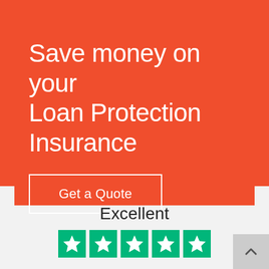Save money on your Loan Protection Insurance
Get a Quote
Excellent
[Figure (illustration): Five green Trustpilot star rating boxes with white stars displayed in a row]